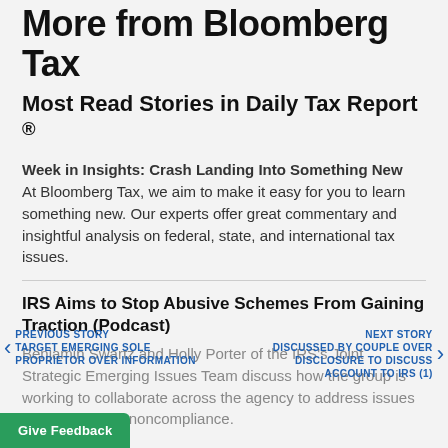More from Bloomberg Tax
Most Read Stories in Daily Tax Report ®
Week in Insights: Crash Landing Into Something New At Bloomberg Tax, we aim to make it easy for you to learn something new. Our experts offer great commentary and insightful analysis on federal, state, and international tax issues.
IRS Aims to Stop Abusive Schemes From Gaining Traction (Podcast)
Benjamin Swartz and Holly Porter of the IRS's Joint Strategic Emerging Issues Team discuss how the group is working to collaborate across the agency to address issues that can lead to noncompliance.
PREVIOUS STORY TARGET EMERGING SOLE
PROPRIETOR OVER INFORMATION
NEXT STORY DISCUSSED BY COUPLE OVER
DISCLOSURE TO DISCUSS
ACCOUNT TO IRS (1)
Give Feedback